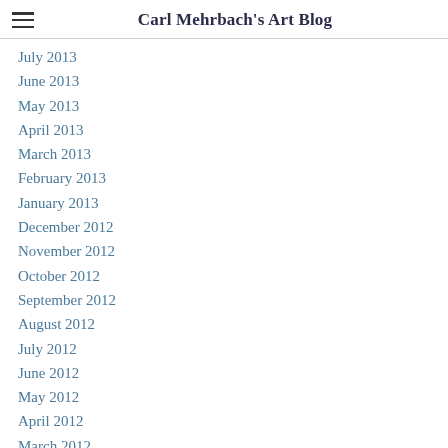Carl Mehrbach's Art Blog
July 2013
June 2013
May 2013
April 2013
March 2013
February 2013
January 2013
December 2012
November 2012
October 2012
September 2012
August 2012
July 2012
June 2012
May 2012
April 2012
March 2012
February 2012